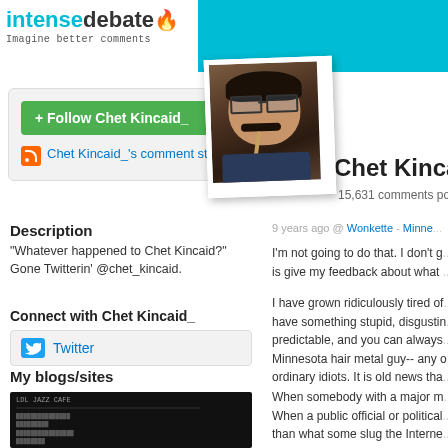intensedebate — Imagine better comments
[Figure (photo): Profile photo of Chet Kincaid_, a man with glasses and a mustache]
Chet Kinca...
15,631 comments po...
[Figure (screenshot): Follow Chet Kincaid_ green button and RSS comment stream link]
Description
"Whatever happened to Chet Kincaid?" Gone Twitterin' @chet_kincaid.
Connect with Chet Kincaid_
Twitter
My blogs/sites
9 years ago @ Wonkette - Minne...
I'm not going to do that. I don't g... is give my feedback about what ...
I have grown ridiculously tired of... have something stupid, disustin... predictable, and you can always... Minnesota hair metal guy-- any o... ordinary idiots. It is old news tha...
When somebody with a major m... When a public official or political... than what some slug the Interne...